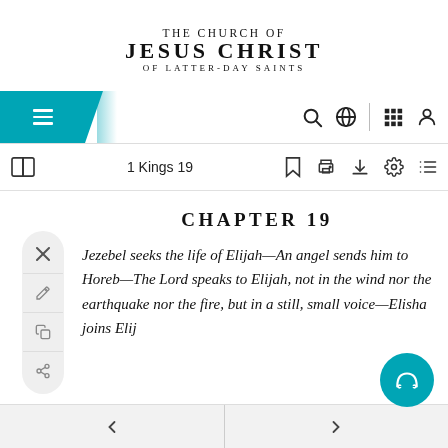THE CHURCH OF JESUS CHRIST OF LATTER-DAY SAINTS
[Figure (screenshot): Navigation bar with hamburger menu (teal), search icon, globe icon, grid icon, and user icon]
[Figure (screenshot): Toolbar showing '1 Kings 19' with bookmark, print, download, settings, and list icons]
CHAPTER 19
Jezebel seeks the life of Elijah—An angel sends him to Horeb—The Lord speaks to Elijah, not in the wind nor the earthquake nor the fire, but in a still, small voice—Elisha joins Elij
[Figure (screenshot): Side toolbar with close (x), pen, copy, and share icons]
[Figure (screenshot): Audio button (teal circle with headphones icon)]
← →